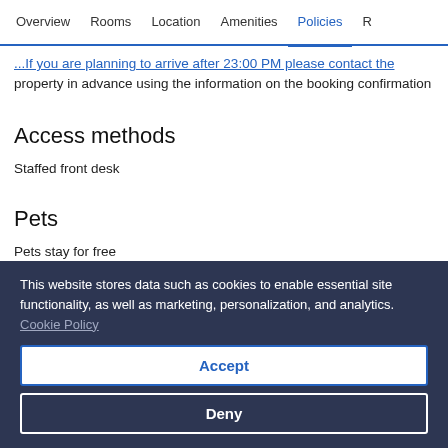Overview | Rooms | Location | Amenities | Policies | R
If you are planning to arrive after 23:00 PM please contact the property in advance using the information on the booking confirmation
Access methods
Staffed front desk
Pets
Pets stay for free
This website stores data such as cookies to enable essential site functionality, as well as marketing, personalization, and analytics. Cookie Policy
Accept
Deny